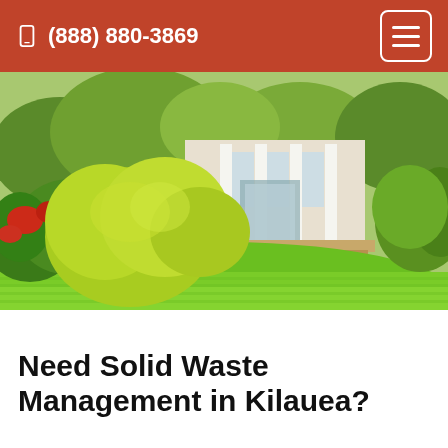(888) 880-3869
[Figure (photo): Residential front yard with bright green lawn, yellow-green and red flowering shrubs, a gravel pathway leading to a wooden deck and white-framed glass door entrance of a house.]
Need Solid Waste Management in Kilauea?